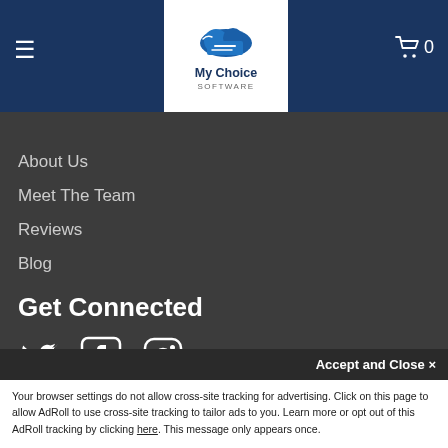My Choice SOFTWARE — navigation bar with hamburger menu and cart (0)
p
About Us
Meet The Team
Reviews
Blog
Get Connected
[Figure (illustration): Twitter, Facebook, and Instagram social media icons in white]
[Figure (logo): BBB Accredited Business badge and TrustedSite Certified Secure badge]
Powered By
[Figure (logo): BusinessTechPro logo with house icon]
Your browser settings do not allow cross-site tracking for advertising. Click on this page to allow AdRoll to use cross-site tracking to tailor ads to you. Learn more or opt out of this AdRoll tracking by clicking here. This message only appears once.
Accept and Close ✕